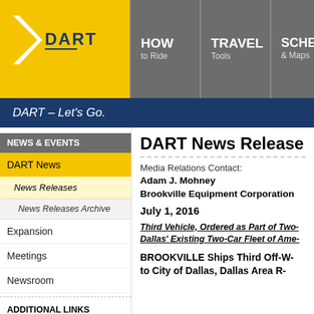[Figure (logo): DART logo with yellow arrow chevron and dark blue DART text on yellow background, alongside navigation menu buttons HOW to Ride, TRAVEL Tools, SCHEDULES & Maps]
DART – Let's Go.
NEWS & EVENTS
DART News
News Releases
News Releases Archive
Expansion
Meetings
Newsroom
ADDITIONAL LINKS
Paratransit Services
DART News Release
Media Relations Contact:
Adam J. Mohney
Brookville Equipment Corporation
July 1, 2016
Third Vehicle, Ordered as Part of Two... Dallas' Existing Two-Car Fleet of Ame...
BROOKVILLE Ships Third Off-W... to City of Dallas, Dallas Area R...